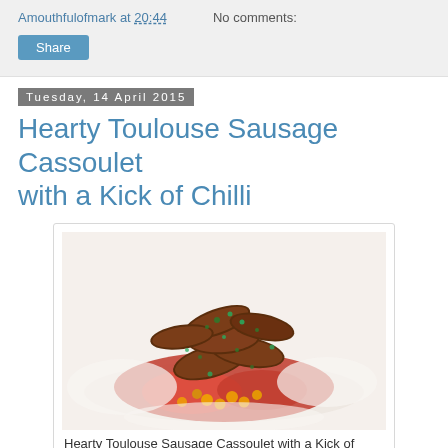Amouthfulofmark at 20:44   No comments:
Share
Tuesday, 14 April 2015
Hearty Toulouse Sausage Cassoulet with a Kick of Chilli
[Figure (photo): A plate of Hearty Toulouse Sausage Cassoulet with a Kick of Chilli — grilled sausages piled on top of red peppers, tomatoes and chickpeas, garnished with green herbs.]
Hearty Toulouse Sausage Cassoulet with a Kick of Chilli